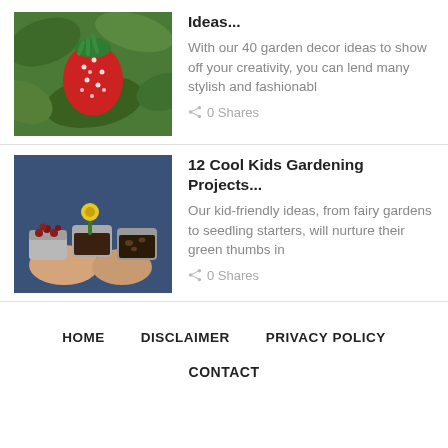[Figure (photo): Decorative strawberry rock sitting among green strawberry plant leaves]
Ideas...
With our 40 garden decor ideas to show off your creativity, you can lend many stylish and fashionabl
0 Shares
[Figure (photo): Child in blue jacket holding three small cupcake-tin planters with seedlings and berries]
12 Cool Kids Gardening Projects...
Our kid-friendly ideas, from fairy gardens to seedling starters, will nurture their green thumbs in
0 Shares
HOME   DISCLAIMER   PRIVACY POLICY   CONTACT